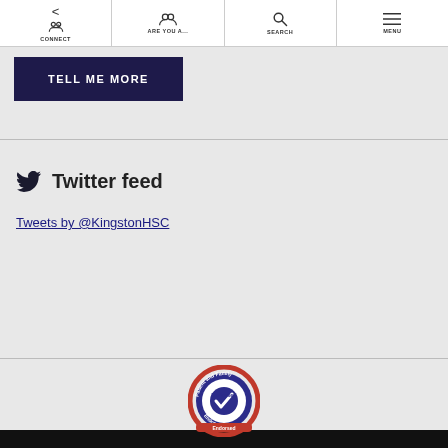CONNECT | ARE YOU A... | SEARCH | MENU
TELL ME MORE
Twitter feed
Tweets by @KingstonHSC
[Figure (logo): Patient and Family Endorsed circular badge/seal logo with a checkmark]